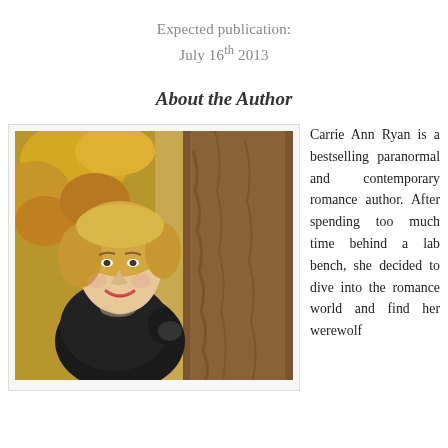Expected publication:
July 16th 2013
About the Author
[Figure (photo): Author photo of Carrie Ann Ryan, a blonde woman in a black jacket leaning against a tree in an autumn forest setting.]
Carrie Ann Ryan is a bestselling paranormal and contemporary romance author. After spending too much time behind a lab bench, she decided to dive into the romance world and find her werewolf